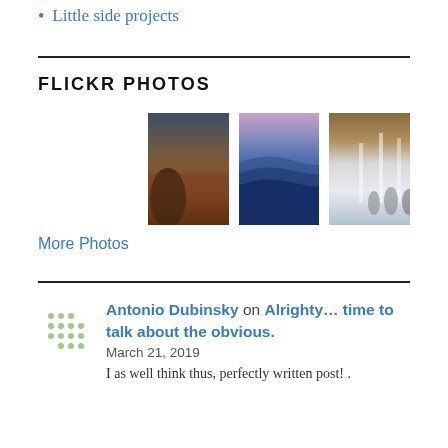Little side projects
FLICKR PHOTOS
[Figure (photo): Three Flickr photos in a row: a landscape at dusk with rust/brown tones, blue layered mountains at twilight, and people at a fountain]
More Photos
Antonio Dubinsky on Alrighty… time to talk about the obvious.
March 21, 2019
I as well think thus, perfectly written post! .